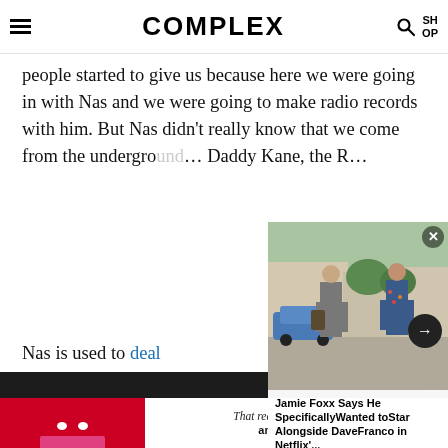COMPLEX
people started to give us because here we were going in with Nas and we were going to make radio records with him. But Nas didn't really know that we come from the underground… Daddy Kane, the R…
Nas is used to dealing with… Professor, Q-Tip, D… hop is good—we lo… enough appeal to g… your record, not ju…
[Figure (photo): Two men on a street — one in a suit with a bag, one in a Hawaiian shirt, appearing to have a conversation. Scene from a Netflix movie.]
Jamie Foxx Says He Specifically Wanted to Star Alongside Dave Franco in Netflix'...
[Figure (photo): Amazon Books advertisement banner showing a woman reading a pink book with text 'That reading feeling awaits' and 'amazon books' logo.]